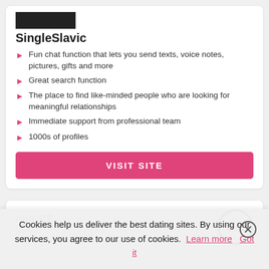[Figure (logo): SingleSlavic logo image (black rectangle placeholder)]
SingleSlavic
Fun chat function that lets you send texts, voice notes, pictures, gifts and more
Great search function
The place to find like-minded people who are looking for meaningful relationships
Immediate support from professional team
1000s of profiles
VISIT SITE
[Figure (logo): Mingl3 logo with purple italic text]
Best for: Anonymous and Discreet
Cookies help us deliver the best dating sites. By using our services, you agree to our use of cookies. Learn more  Got it